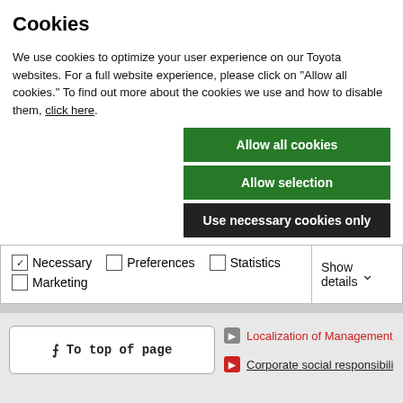Cookies
We use cookies to optimize your user experience on our Toyota websites. For a full website experience, please click on "Allow all cookies." To find out more about the cookies we use and how to disable them, click here.
Allow all cookies
Allow selection
Use necessary cookies only
Necessary  Preferences  Statistics  Marketing  Show details
To top of page
Localization of Management
Corporate social responsibili
Previous
© 2012 TOYOTA MOTOR CORPORATION. All Rights Reserved.